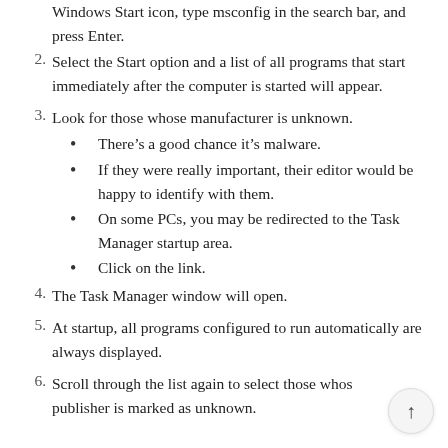Windows Start icon, type msconfig in the search bar, and press Enter.
2. Select the Start option and a list of all programs that start immediately after the computer is started will appear.
3. Look for those whose manufacturer is unknown.
There’s a good chance it’s malware.
If they were really important, their editor would be happy to identify with them.
On some PCs, you may be redirected to the Task Manager startup area.
Click on the link.
4. The Task Manager window will open.
5. At startup, all programs configured to run automatically are always displayed.
6. Scroll through the list again to select those whose publisher is marked as unknown.